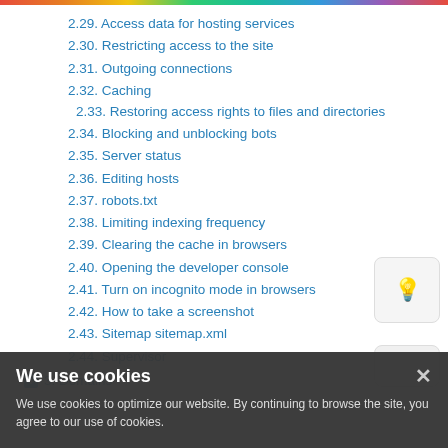2.29. Access data for hosting services
2.30. Restricting access to the site
2.31. Outgoing connections
2.32. Caching
2.33. Restoring access rights to files and directories
2.34. Blocking and unblocking bots
2.35. Server status
2.36. Editing hosts
2.37. robots.txt
2.38. Limiting indexing frequency
2.39. Clearing the cache in browsers
2.40. Opening the developer console
2.41. Turn on incognito mode in browsers
2.42. How to take a screenshot
2.43. Sitemap sitemap.xml
2.44. Supervisor
3. Domains
We use cookies
We use cookies to optimize our website. By continuing to browse the site, you agree to our use of cookies.